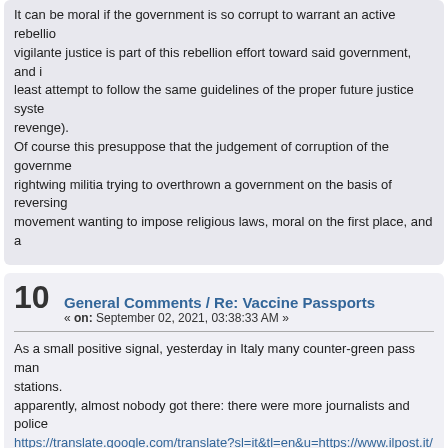It can be moral if the government is so corrupt to warrant an active rebellion, vigilante justice is part of this rebellion effort toward said government, and it at least attempt to follow the same guidelines of the proper future justice system (not revenge).
Of course this presuppose that the judgement of corruption of the government, rightwing militia trying to overthrown a government on the basis of reversing, movement wanting to impose religious laws, moral on the first place, and a
10 General Comments / Re: Vaccine Passports
« on: September 02, 2021, 03:38:33 AM »
As a small positive signal, yesterday in Italy many counter-green pass man stations.
apparently, almost nobody got there: there were more journalists and police
https://translate.google.com/translate?sl=it&tl=en&u=https://www.ilpost.it/2
11 General Comments / Re: Vaccine Passports
« on: August 07, 2021, 04:00:47 PM »
Just for general amusement: I was just reading that here in Italy on Telegra fake Green Pass certificates for a price of 150-350€, an obvious scam (due designed, it's almost impossible to really fake the Green Pass, without ).